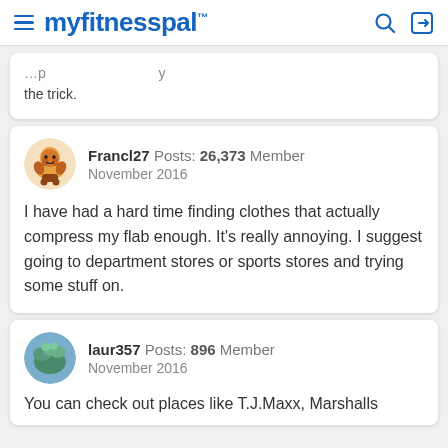myfitnesspal
the trick.
Francl27  Posts: 26,373  Member
November 2016

I have had a hard time finding clothes that actually compress my flab enough. It's really annoying. I suggest going to department stores or sports stores and trying some stuff on.
laur357  Posts: 896  Member
November 2016

You can check out places like T.J.Maxx, Marshalls